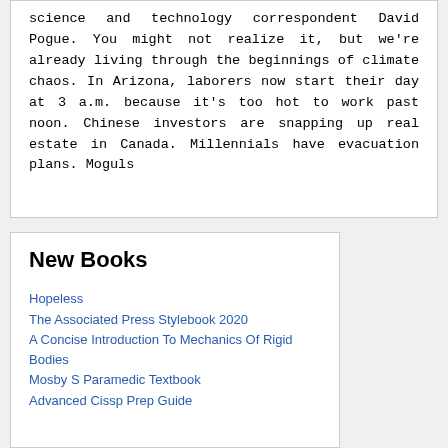science and technology correspondent David Pogue. You might not realize it, but we're already living through the beginnings of climate chaos. In Arizona, laborers now start their day at 3 a.m. because it's too hot to work past noon. Chinese investors are snapping up real estate in Canada. Millennials have evacuation plans. Moguls
New Books
Hopeless
The Associated Press Stylebook 2020
A Concise Introduction To Mechanics Of Rigid Bodies
Mosby S Paramedic Textbook
Advanced Cissp Prep Guide